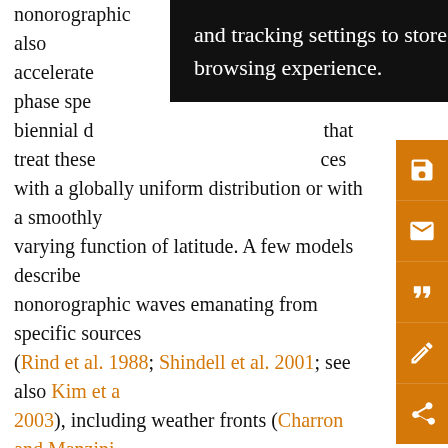nonorographic [tooltip: and tracking settings to store information that help give you the very best browsing experience.] accelerate wave phase spe biennial d that treat these ces with a globally uniform distribution or with a smoothly varying function of latitude. A few models describe nonorographic waves emanating from specific sources (Rind et al. 1988; Shindell et al. 2001; see also Kim et al. 2003), including weather fronts (Charron and Manzini 2002) and convection (Chun et al. 2004; Beres 2004). By coupling the gravity wave sources to specific tropospheric events, these latter models link tropospheric and stratospheric climate processes with a realistic mechanism; however, our current understanding of these wave sources leaves these parameterizations with few constraints to assess the realism of the resulting effects.
[Figure (screenshot): A black tooltip popup overlay showing text: 'and tracking settings to store information that help give you the very best browsing experience.']